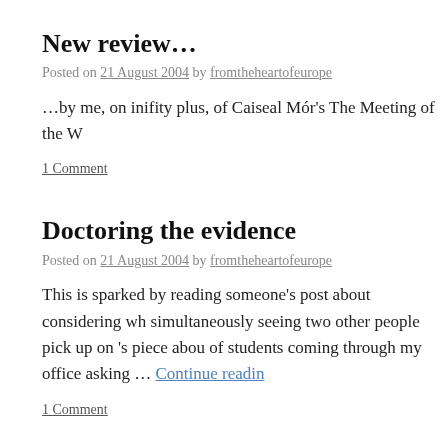New review…
Posted on 21 August 2004 by fromtheheartofeurope
…by me, on inifity plus, of Caiseal Mór's The Meeting of the W
1 Comment
Doctoring the evidence
Posted on 21 August 2004 by fromtheheartofeurope
This is sparked by reading someone's post about considering wh simultaneously seeing two other people pick up on 's piece abou of students coming through my office asking … Continue readin
1 Comment
Trust metric ?)
Posted on 21 August 2004 by fromtheheartofeurope